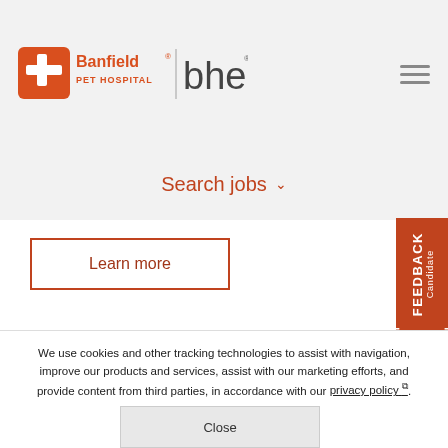[Figure (logo): Banfield Pet Hospital logo with orange cross and pet icon, followed by vertical divider, then 'bhere' wordmark in dark gray]
[Figure (other): Hamburger menu icon with three horizontal gray lines]
Search jobs ˅
Learn more
[Figure (other): Candidate FEEDBACK orange vertical tab with bracket icon]
We use cookies and other tracking technologies to assist with navigation, improve our products and services, assist with our marketing efforts, and provide content from third parties, in accordance with our privacy policy ⧉.
Close